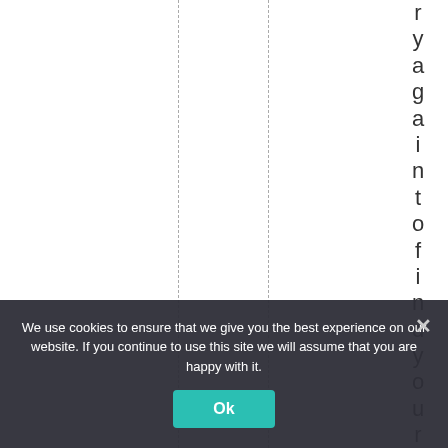[Figure (other): White background with two dashed vertical lines and vertical text on the right reading 'ryagaintofindyourp' (letters stacked vertically), appearing to be a partially visible webpage with column grid lines]
We use cookies to ensure that we give you the best experience on our website. If you continue to use this site we will assume that you are happy with it.